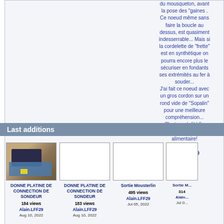du mousqueton, avant la pose des "gaines . Ce noeud même sans faire la boucle au dessus, est quasiment indesserrable... Mais si la cordelette de "frette" est en synthétique on pourra encore plus le sécuriser en fondants ses extrémités au fer à souder... J'ai fait ce noeud avec un gros cordon sur un rond vide de "Sopalin" pour une meilleure compréhension... C'est en réalité fin comme de la cordelette alimentaire!
Alain.LFF29
Last additions
[Figure (photo): Photo of a device (DONNE PLATINE DE CONNECTION DE SONDEUR) on a blue board on a wooden surface]
DONNE PLATINE DE CONNECTION DE SONDEUR
184 views
Alain.LFF29
Aug 10, 2022
[Figure (photo): Blank/white image placeholder for DONNE PLATINE DE CONNECTION DE SONDEUR]
DONNE PLATINE DE CONNECTION DE SONDEUR
183 views
Alain.LFF29
Aug 10, 2022
[Figure (photo): Blank/white image placeholder for Sortie Mousterlin]
Sortie Mousterlin
495 views
Alain.LFF29
Jul 05, 2022
[Figure (photo): Partial blank/white image placeholder for Sortie M...]
Sortie M...
314...
Alain...